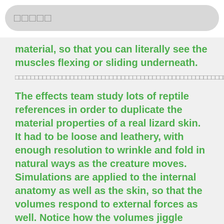□□□□□
material, so that you can literally see the muscles flexing or sliding underneath.
□□□□□□□□□□□□□□□□□□□□□□□□□□□□□□□□□□□□□□□□□□□□□□□□□□□□□□□□□□□□□□□□□□□□□□□□□□□□□□□□□□□□□□□□□□□□□□□□□□□□□□□□□□□□□□□□□□□□□□□□□□□□□□□□□□□□□□□□□□□□□□□□□□□□□□□□□□□□□□□□□□□□□□□□□□□□□□□□□□□□□□□□□□□□□□□□□□□□□□□□□□□□□□□□□□□□□□□□□□□□□□□□□□□□□□□□□□□
The effects team study lots of reptile references in order to duplicate the material properties of a real lizard skin. It had to be loose and leathery, with enough resolution to wrinkle and fold in natural ways as the creature moves. Simulations are applied to the internal anatomy as well as the skin, so that the volumes respond to external forces as well. Notice how the volumes jiggle